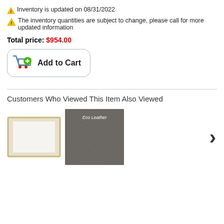⚠ Inventory is updated on 08/31/2022
⚠ The inventory quantities are subject to change, please call for more updated information
Total price: $954.00
[Figure (screenshot): Add to Cart button with shopping cart icon]
Customers Who Viewed This Item Also Viewed
[Figure (photo): Two product images: a rectangular frame with gold border and a dark gray eco leather swatch with 'Eco Leather' text, with a right chevron navigation arrow]